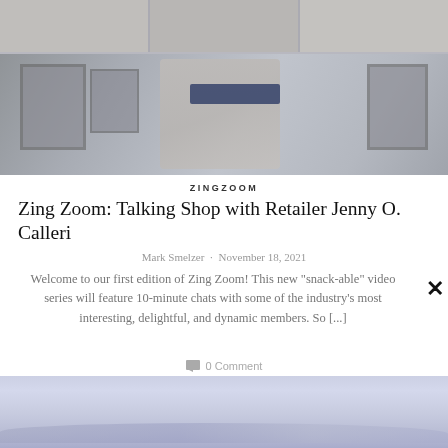[Figure (photo): Video call screenshot showing multiple participants in a grid layout, with a main speaker area below featuring two people, a man with glasses smiling and a woman, in front of framed artwork and a sign reading 'the zing report']
ZINGZOOM
Zing Zoom: Talking Shop with Retailer Jenny O. Calleri
Mark Smelzer · November 18, 2021
Welcome to our first edition of Zing Zoom!  This new "snack-able" video series will feature 10-minute chats with some of the industry's most interesting, delightful, and dynamic members.  So [...]
0 Comment
[Figure (photo): Landscape photo with pale lavender sky and horizon, appears to be a coastal or open terrain scene]